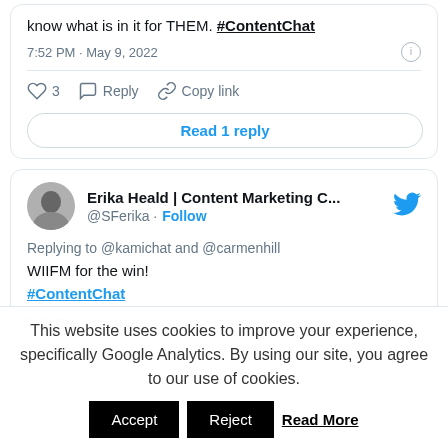know what is in it for THEM. #ContentChat
7:52 PM · May 9, 2022
♡ 3   Reply   Copy link
Read 1 reply
Erika Heald | Content Marketing C... @SFerika · Follow
Replying to @kamichat and @carmenhill
WIIFM for the win!
#ContentChat
7:52 PM · May 9, 2022
This website uses cookies to improve your experience, specifically Google Analytics. By using our site, you agree to our use of cookies.
Accept   Reject   Read More